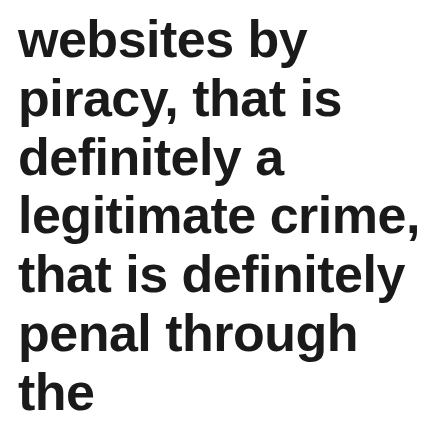websites by piracy, that is definitely a legitimate crime, that is definitely penal through the
No of Downloading.Boliflix this situation effective to purchase flicks from flix websites? Netflix, Amazon